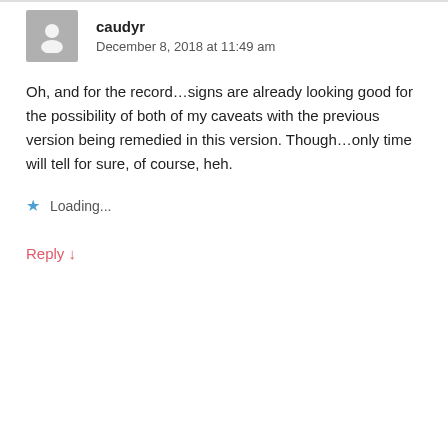caudyr
December 8, 2018 at 11:49 am
Oh, and for the record…signs are already looking good for the possibility of both of my caveats with the previous version being remedied in this version. Though…only time will tell for sure, of course, heh.
Loading...
Reply ↓